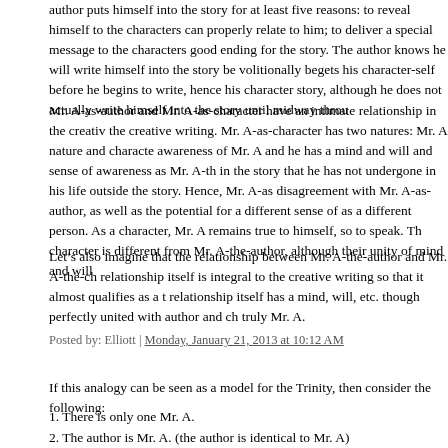author puts himself into the story for at least five reasons: to reveal himself to the characters can properly relate to him; to deliver a special message to the characters good ending for the story. The author knows he will write himself into the story be volitionally begets his character-self before he begins to write, hence his character story, although he does not actually write himself into the story until midway throu
Mr. A-as-author and Mr. A-as-character have an intimate relationship in the creati the creative writing. Mr. A-as-character has two natures: Mr. A nature and characte awareness of Mr. A and he has a mind and will and sense of awareness as Mr. A-th in the story that he has not undergone in his life outside the story. Hence, Mr. A-as disagreement with Mr. A-as-author, as well as the potential for a different sense of as a different person. As a character, Mr. A remains true to himself, so to speak. Th character is different from Mr. A-the-author, although their unity of mind and will
Let’s also imagine that the relationship between Mr. A-the-author and Mr. A-the-ch relationship itself is integral to the creative writing so that it almost qualifies as a t relationship itself has a mind, will, etc. though perfectly united with author and ch truly Mr. A.
Posted by: Elliott | Monday, January 21, 2013 at 10:12 AM
If this analogy can be seen as a model for the Trinity, then consider the following:
1. There is only one Mr. A.
2. The author is Mr. A. (the author is identical to Mr. A)
3. The character is Mr. A. (the character is the only mental/volitional progeny of M begotten outside the space-time boundaries of the story; the character is Mr. A fro